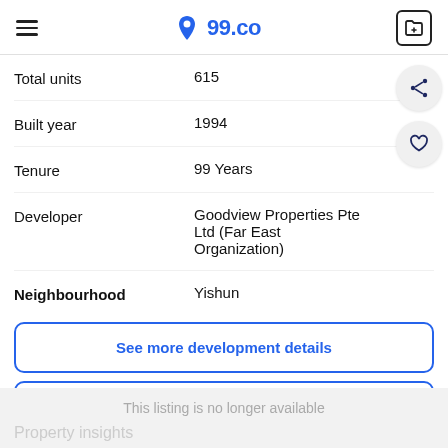99.co
| Label | Value |
| --- | --- |
| Total units | 615 |
| Built year | 1994 |
| Tenure | 99 Years |
| Developer | Goodview Properties Pte Ltd (Far East Organization) |
| Neighbourhood | Yishun |
See more development details
See other listings in Orchid Park Condominium
This listing is no longer available
Property insights